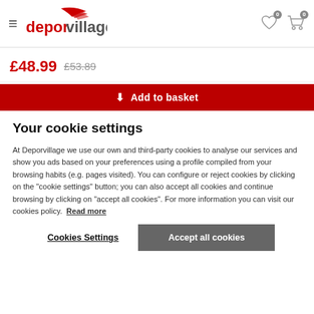[Figure (logo): Deporvillage logo with red stylized lines above text]
£48.99 £53.89
Add to basket
Your cookie settings
At Deporvillage we use our own and third-party cookies to analyse our services and show you ads based on your preferences using a profile compiled from your browsing habits (e.g. pages visited). You can configure or reject cookies by clicking on the "cookie settings" button; you can also accept all cookies and continue browsing by clicking on "accept all cookies". For more information you can visit our cookies policy. Read more
Cookies Settings
Accept all cookies